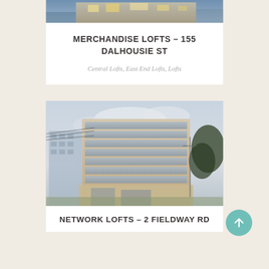[Figure (photo): Partial top view of a building exterior with brick facade and lit windows at dusk]
MERCHANDISE LOFTS – 155 DALHOUSIE ST
Central Lofts, East End Lofts, Lofts
[Figure (photo): Modern multi-story glass and stone loft building photographed from street level, with power lines and trees in background]
NETWORK LOFTS – 2 FIELDWAY RD